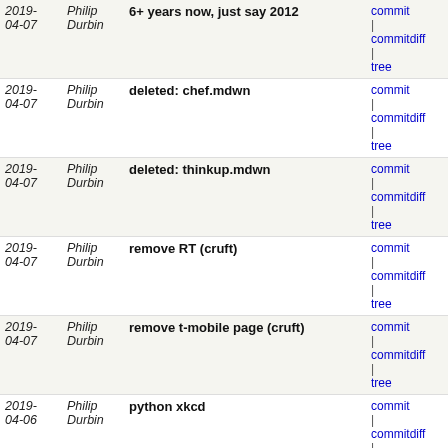| Date | Author | Message | Links |
| --- | --- | --- | --- |
| 2019-04-07 | Philip Durbin | 6+ years now, just say 2012 | commit | commitdiff | tree |
| 2019-04-07 | Philip Durbin | deleted: chef.mdwn | commit | commitdiff | tree |
| 2019-04-07 | Philip Durbin | deleted: thinkup.mdwn | commit | commitdiff | tree |
| 2019-04-07 | Philip Durbin | remove RT (cruft) | commit | commitdiff | tree |
| 2019-04-07 | Philip Durbin | remove t-mobile page (cruft) | commit | commitdiff | tree |
| 2019-04-06 | Philip Durbin | python xkcd | commit | commitdiff | tree |
| 2019-04-06 | Philip Durbin | css links | commit | commitdiff | tree |
| 2019-04-06 | Philip Durbin | added conferences, libreplanet | commit | commitdiff | tree |
| 2019-03-30 | Philip Durbin | java on mac | commit | commitdiff | tree |
| 2019-02-11 | Philip Durbin | typos | commit | commitdiff | tree |
| 2019-02-11 | Philip Durbin | add Open Science Days talk, 2019 | commit | commitdiff | tree |
| 2019-02-11 | Philip Durbin | typo | commit | commitdiff | tree |
| 2019-01-13 | Philip Durbin | add some podcasts and reorg | commit | commitdiff | tree |